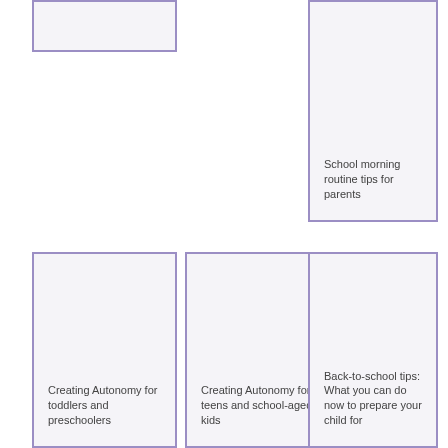[Figure (illustration): Card with purple border at top left, no text visible]
[Figure (illustration): Card with purple border at top right, with text: School morning routine tips for parents]
[Figure (illustration): Card with purple border at bottom left, with text: Creating Autonomy for toddlers and preschoolers]
[Figure (illustration): Card with purple border at bottom center, with text: Creating Autonomy for teens and school-aged kids]
[Figure (illustration): Card with purple border at bottom right, with text: Back-to-school tips: What you can do now to prepare your child for]